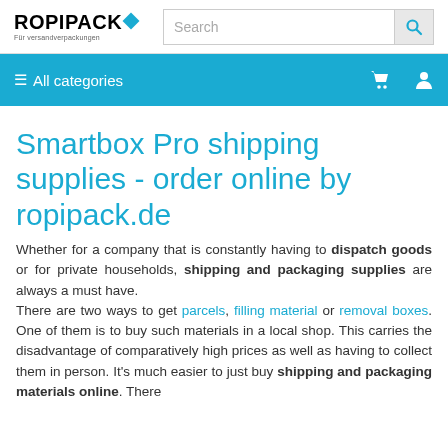ROPIPACK - Für versandverpackungen | Search bar
≡ All categories
Smartbox Pro shipping supplies - order online by ropipack.de
Whether for a company that is constantly having to dispatch goods or for private households, shipping and packaging supplies are always a must have. There are two ways to get parcels, filling material or removal boxes. One of them is to buy such materials in a local shop. This carries the disadvantage of comparatively high prices as well as having to collect them in person. It's much easier to just buy shipping and packaging materials online. There